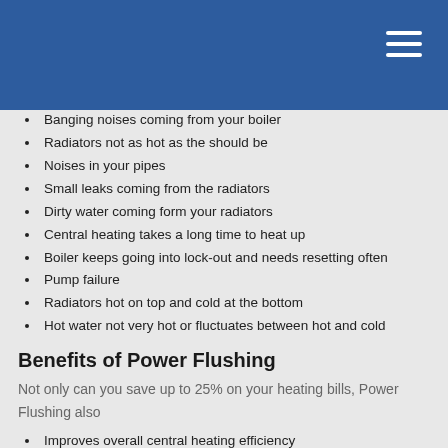Banging noises coming from your boiler
Radiators not as hot as the should be
Noises in your pipes
Small leaks coming from the radiators
Dirty water coming form your radiators
Central heating takes a long time to heat up
Boiler keeps going into lock-out and needs resetting often
Pump failure
Radiators hot on top and cold at the bottom
Hot water not very hot or fluctuates between hot and cold
Benefits of Power Flushing
Not only can you save up to 25% on your heating bills, Power Flushing also
Improves overall central heating efficiency
Extend the lifespan of your boiler &radiators